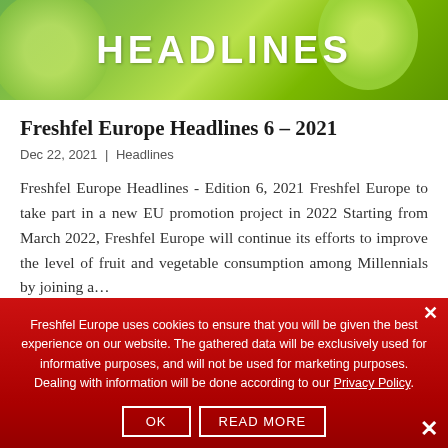[Figure (photo): Green citrus/lime background header image with bold white text 'HEADLINES']
Freshfel Europe Headlines 6 – 2021
Dec 22, 2021 | Headlines
Freshfel Europe Headlines - Edition 6, 2021 Freshfel Europe to take part in a new EU promotion project in 2022 Starting from March 2022, Freshfel Europe will continue its efforts to improve the level of fruit and vegetable consumption among Millennials by joining a...
Freshfel Europe uses cookies to ensure that you will be given the best experience on our website. The gathered data will be exclusively used for informative purposes, and will not be used for marketing purposes. Dealing with information will be done according to our Privacy Policy.